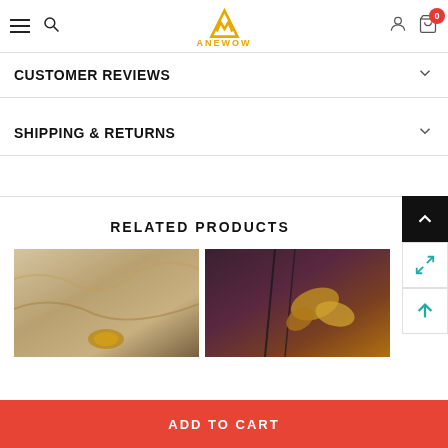ANEWOW
CUSTOMER REVIEWS
SHIPPING & RETURNS
RELATED PRODUCTS
[Figure (photo): Close-up product photo showing gold fabric and metallic embellishments]
[Figure (photo): Product photo showing gold accessories and lingerie on dark background]
ADD TO CART